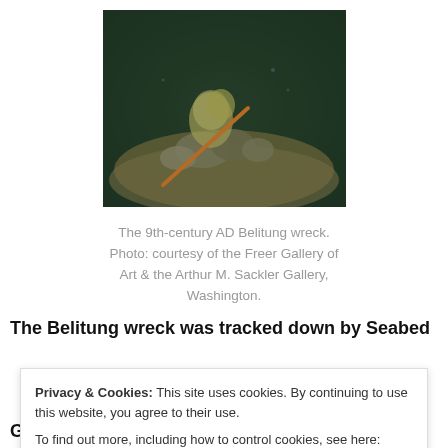[Figure (photo): Underwater photo of the 9th-century AD Belitung shipwreck on the seabed, showing encrusted artifacts and sea life in dark water]
The 9th-century AD Belitung wreck. Photo: courtesy of the Freer Gallery of Art & the Arthur M. Sackler Gallery, Washington.
The Belitung wreck was tracked down by Seabed
Privacy & Cookies: This site uses cookies. By continuing to use this website, you agree to their use.
To find out more, including how to control cookies, see here: Cookie Policy
Group for $32 million. A million miles from the spot where